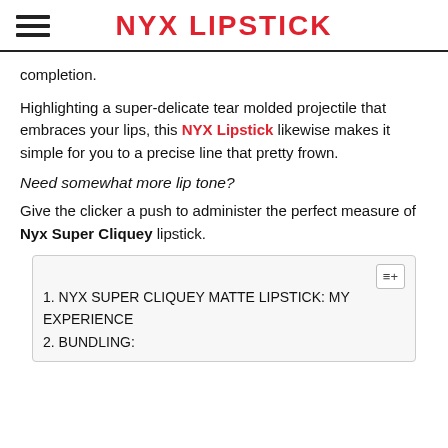NYX LIPSTICK
completion.
Highlighting a super-delicate tear molded projectile that embraces your lips, this NYX Lipstick likewise makes it simple for you to a precise line that pretty frown.
Need somewhat more lip tone?
Give the clicker a push to administer the perfect measure of Nyx Super Cliquey lipstick.
1. NYX SUPER CLIQUEY MATTE LIPSTICK: MY EXPERIENCE
2. BUNDLING: